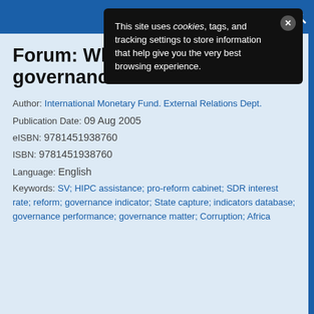Header navigation bar with menu and search icons
This site uses cookies, tags, and tracking settings to store information that help give you the very best browsing experience.
Forum: Why measuring governance matters
Author: International Monetary Fund. External Relations Dept.
Publication Date: 09 Aug 2005
eISBN: 9781451938760
ISBN: 9781451938760
Language: English
Keywords: SV; HIPC assistance; pro-reform cabinet; SDR interest rate; reform; governance indicator; State capture; indicators database; governance performance; governance matter; Corruption; Africa